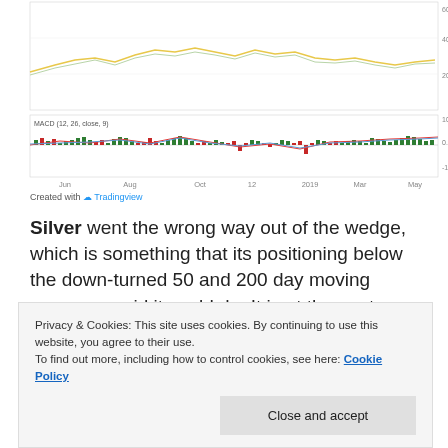[Figure (continuous-plot): Stock chart showing price data (top panel) with yellow/green candlestick-like lines and a MACD (12, 26, close, 9) indicator (bottom panel) with green and red histogram bars and signal lines. X-axis shows dates: Jun, Aug, Oct, 12, 2019, Mar, May. Y-axis top panel shows 20.0000, 40.0000, 60.0000+. Y-axis bottom panel shows -10.0, 0.0, 10.0.]
Created with Tradingview
Silver went the wrong way out of the wedge, which is something that its positioning below the down-turned 50 and 200 day moving averages said it could do. It is at the next level of support and threatening to lose it. I bought some of the silver bullet (SLV) and will plan to add more if silver drops toward 14. Could be wrong, could be right in that heroism. But they say buy when the gold/silver bugs
Privacy & Cookies: This site uses cookies. By continuing to use this website, you agree to their use.
To find out more, including how to control cookies, see here: Cookie Policy
Close and accept